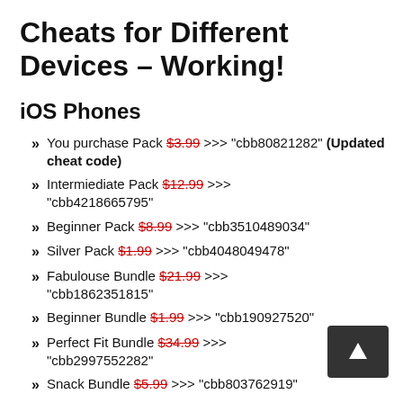Cheats for Different Devices – Working!
iOS Phones
You purchase Pack $3.99 >>> "cbb80821282" (Updated cheat code)
Intermiediate Pack $12.99 >>> "cbb4218665795"
Beginner Pack $8.99 >>> "cbb3510489034"
Silver Pack $1.99 >>> "cbb4048049478"
Fabulouse Bundle $21.99 >>> "cbb1862351815"
Beginner Bundle $1.99 >>> "cbb190927520"
Perfect Fit Bundle $34.99 >>> "cbb2997552282"
Snack Bundle $5.99 >>> "cbb803762919"